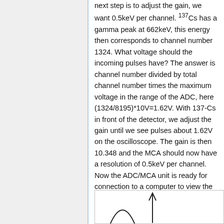next step is to adjust the gain, we want 0.5keV per channel. 137Cs has a gamma peak at 662keV, this energy then corresponds to channel number 1324. What voltage should the incoming pulses have? The answer is channel number divided by total channel number times the maximum voltage in the range of the ADC, here (1324/8195)*10V=1.62V. With 137-Cs in front of the detector, we adjust the gain until we see pulses about 1.62V on the oscilloscope. The gain is then 10.348 and the MCA should now have a resolution of 0.5keV per channel. Now the ADC/MCA unit is ready for connection to a computer to view the acquired spectre, and for further calibration.
[Figure (other): Bottom of a figure showing oscilloscope waveforms — two partial curves visible (a bell curve and an arrow-like shape)]